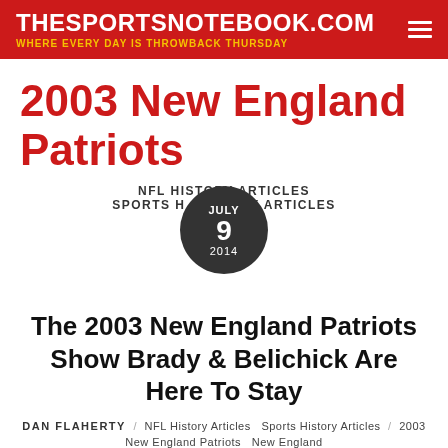THESPORTSNOTEBOOK.COM — WHERE EVERY DAY IS THROWBACK THURSDAY
2003 New England Patriots
NFL HISTORY ARTICLES
SPORTS HISTORY ARTICLES
JULY 9 2014
The 2003 New England Patriots Show Brady & Belichick Are Here To Stay
DAN FLAHERTY / NFL History Articles Sports History Articles / 2003 New England Patriots New England